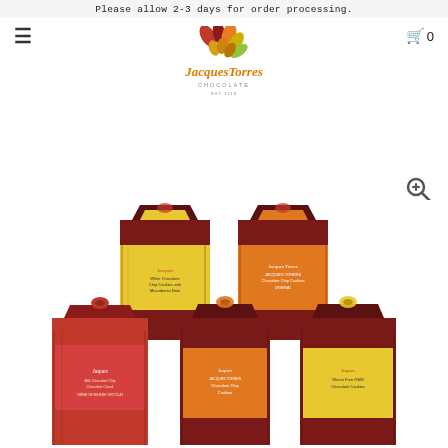Please allow 2-3 days for order processing.
[Figure (logo): Jacques Torres Chocolate logo with colorful leaf/nut design and orange script text]
[Figure (photo): Five Jacques Torres Chocolate cookie boxes arranged in a pyramid. Boxes are dark red/maroon with colorful yellow and orange label bands. Products shown: White Chocolate Chip Cookies with Macadamia Nuts, Jacques Torres Chocolate Chip Cookies (Original), Milk Chocolate Chip Chocolate Chunk, Jacques Torres Chocolate Chip Cookies, Gluten Free OMG Chocolate Cookies.]